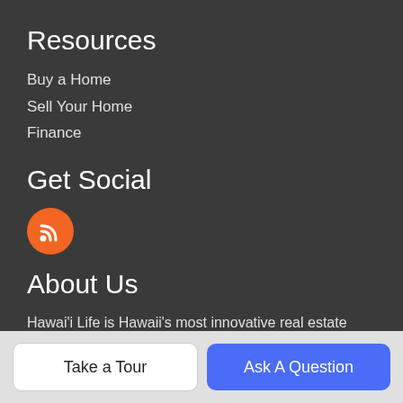Resources
Buy a Home
Sell Your Home
Finance
Get Social
[Figure (logo): Orange circular RSS feed icon]
About Us
Hawai'i Life is Hawaii's most innovative real estate team.
Hawai'i Life Real Estate Brokers
PO Box 356, Hanalei, HI 96714
800.370.3848
Take a Tour
Ask A Question